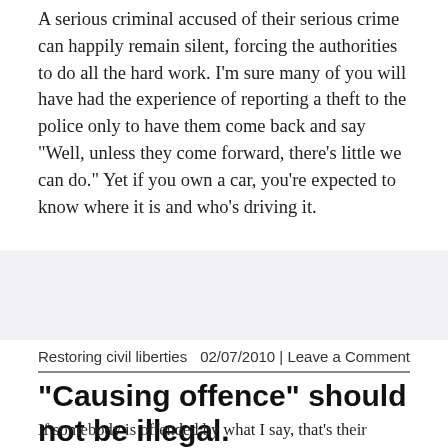A serious criminal accused of their serious crime can happily remain silent, forcing the authorities to do all the hard work.  I'm sure many of you will have had the experience of reporting a theft to the police only to have them come back and say "Well, unless they come forward, there's little we can do."  Yet if you own a car, you're expected to know where it is and who's driving it.
Restoring civil liberties    02/07/2010 | Leave a Comment
“Causing offence” should not be illegal.
If somebody is offended by what I say, that's their problem! They shouldn't be allowed to veto anything I say by simply